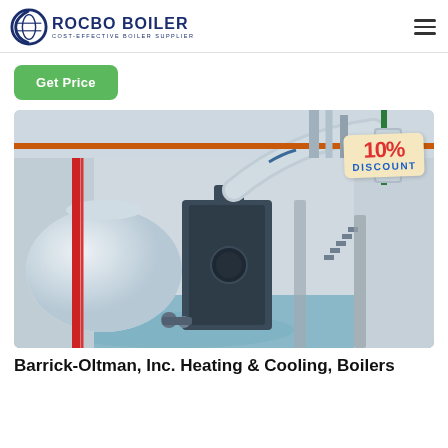ROCBO BOILER — COST-EFFECTIVE BOILER SUPPLIER
Get Price
[Figure (photo): Industrial boiler room interior with large cylindrical boilers, insulated pipes in silver, red, green and orange colors running across the ceiling and walls, blue epoxy floor, heavy industrial equipment. A 10% DISCOUNT badge overlaid in the upper right corner.]
Barrick-Oltman, Inc. Heating & Cooling, Boilers